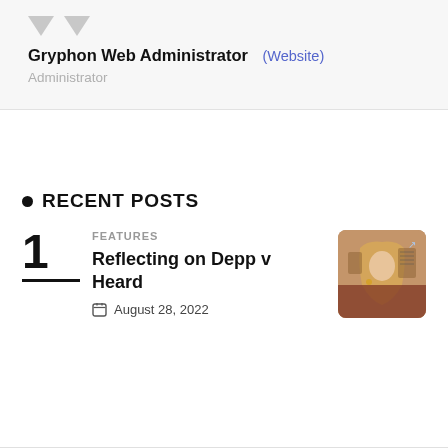Gryphon Web Administrator (Website)
Administrator
RECENT POSTS
FEATURES
Reflecting on Depp v Heard
August 28, 2022
[Figure (photo): Thumbnail photo showing a woman with long blonde hair at an event, with red/brown tones, partial view of other people in background.]